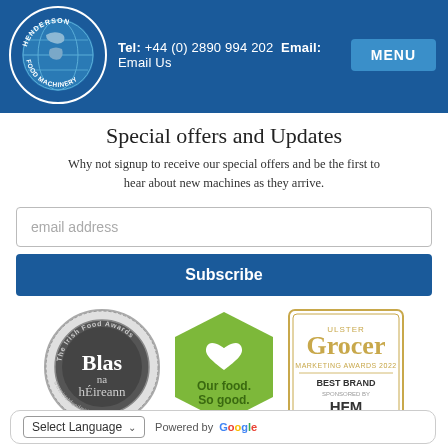Henderson Food Machinery — Tel: +44 (0) 2890 994 202 Email: Email Us | MENU
Special offers and Updates
Why not signup to receive our special offers and be the first to hear about new machines as they arrive.
[Figure (other): Email address input field placeholder]
[Figure (other): Subscribe button]
[Figure (other): Three logos: Blas na hÉireann Irish Food Awards, Our food. So good. Taste of Ulster, Ulster Grocer Marketing Awards 2022 Best Brand HFM]
Select Language — Powered by Google